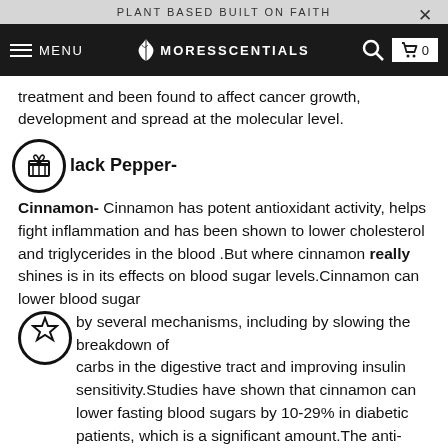PLANT BASED BUILT ON FAITH
treatment and been found to affect cancer growth, development and spread at the molecular level.
Black Pepper-
Cinnamon- Cinnamon has potent antioxidant activity, helps fight inflammation and has been shown to lower cholesterol and triglycerides in the blood .But where cinnamon really shines is in its effects on blood sugar levels.Cinnamon can lower blood sugar by several mechanisms, including by slowing the breakdown of carbs in the digestive tract and improving insulin sensitivity.Studies have shown that cinnamon can lower fasting blood sugars by 10-29% in diabetic patients, which is a significant amount.The anti-fungal, antioxidant and antibacterial properties of cinnamon makes it useful against acne and skin blemishes. Cinnamon can also help remove acne by drying out the skin and by supporting blood flow to the skin.